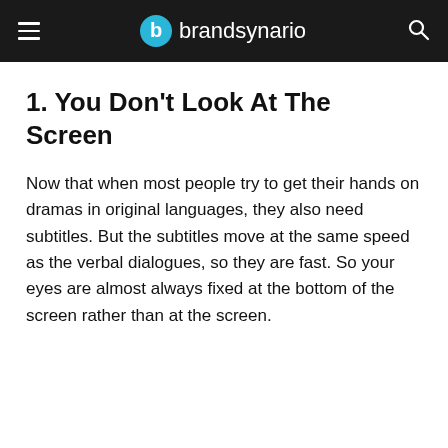brandsynario
1. You Don't Look At The Screen
Now that when most people try to get their hands on dramas in original languages, they also need subtitles. But the subtitles move at the same speed as the verbal dialogues, so they are fast. So your eyes are almost always fixed at the bottom of the screen rather than at the screen.